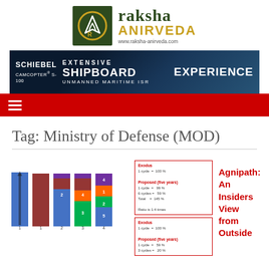[Figure (logo): Raksha Anirveda logo with dark green box containing 'R' emblem and text 'raksha ANIRVEDA' with URL www.raksha-anirveda.com]
[Figure (photo): Schiebel Camcopter S-100 advertisement banner: 'EXTENSIVE SHIPBOARD EXPERIENCE UNMANNED MARITIME ISR']
[Figure (other): Red navigation bar with hamburger menu icon]
Tag: Ministry of Defense (MOD)
[Figure (bar-chart): Stacked bar chart showing Agnipath scheme data with multiple colored bars and data tables]
Agnipath: An Insiders View from Outside